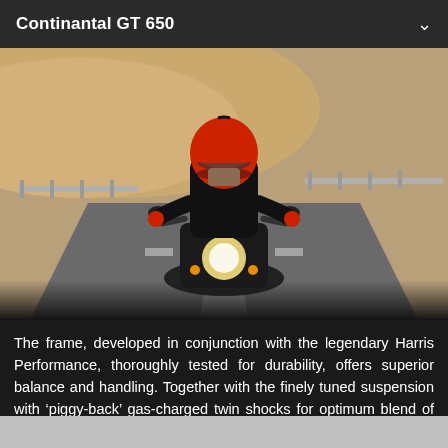Continantal GT 650
[Figure (photo): A motorcyclist wearing a red helmet and black jacket rides a dark-colored Royal Enfield Continental GT 650 motorcycle on a road, viewed from the front. Background shows sandy hills and a highway guardrail.]
The frame, developed in conjunction with the legendary Harris Performance, thoroughly tested for durability, offers superior balance and handling. Together with the finely tuned suspension with 'piggy-back' gas-charged twin shocks for optimum blend of comfort & feel, the chassis ensures the GT 650 is a dynamic ride, lively and agile scratching through those back-lanes.